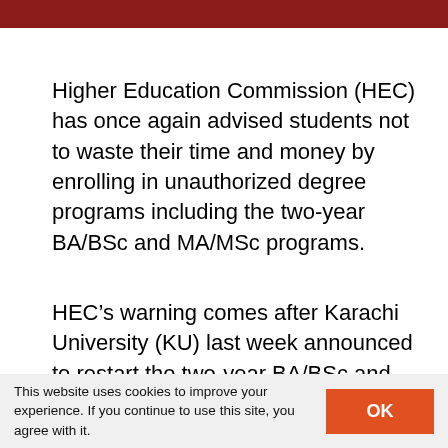Higher Education Commission (HEC) has once again advised students not to waste their time and money by enrolling in unauthorized degree programs including the two-year BA/BSc and MA/MSc programs.
HEC’s warning comes after Karachi University (KU) last week announced to restart the two-year BA/BSc and MA/MSc programs in government and private colleges across Sindh. KU also decided to postpone the implementation of the two-year Associate
This website uses cookies to improve your experience. If you continue to use this site, you agree with it.